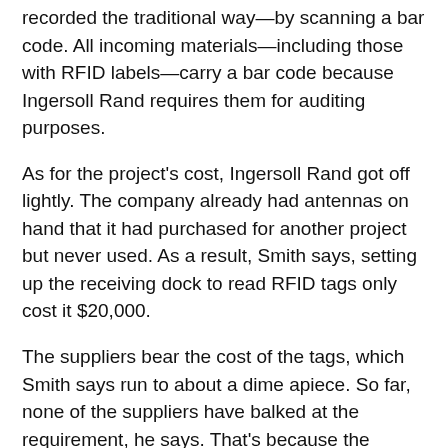recorded the traditional way—by scanning a bar code. All incoming materials—including those with RFID labels—carry a bar code because Ingersoll Rand requires them for auditing purposes.
As for the project's cost, Ingersoll Rand got off lightly. The company already had antennas on hand that it had purchased for another project but never used. As a result, Smith says, setting up the receiving dock to read RFID tags only cost it $20,000.
The suppliers bear the cost of the tags, which Smith says run to about a dime apiece. So far, none of the suppliers have balked at the requirement, he says. That's because the suppliers have an incentive—prompt payment for their materials. Once the information from the tag gets sent to the pOréal and is reconciled with the invoice, the supplier gets approved for payment. "If the suppliers do the job right with RFID, they get paid on time," Smith says.